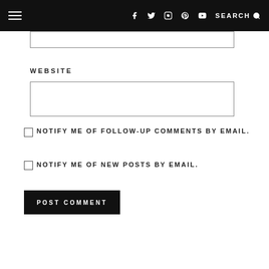Navigation bar with hamburger menu, social icons (Facebook, Twitter, Instagram, Pinterest, YouTube), and SEARCH
WEBSITE
NOTIFY ME OF FOLLOW-UP COMMENTS BY EMAIL.
NOTIFY ME OF NEW POSTS BY EMAIL.
POST COMMENT